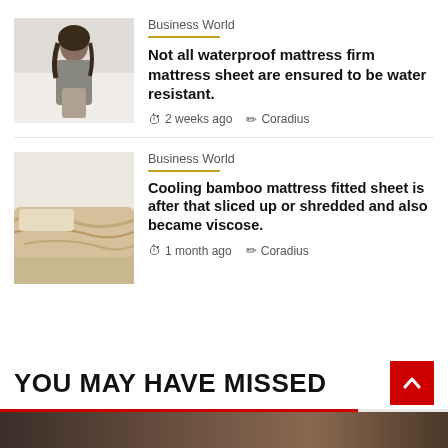Business World
Not all waterproof mattress firm mattress sheet are ensured to be water resistant.
2 weeks ago   Coradius
[Figure (photo): Young woman sitting on a bed with white bedding, wearing a grey sweatshirt]
Business World
Cooling bamboo mattress fitted sheet is after that sliced up or shredded and also became viscose.
1 month ago   Coradius
[Figure (photo): Beige/cream colored blanket or bedding on a bed]
YOU MAY HAVE MISSED
[Figure (photo): Dark blurred image strip at bottom of page]